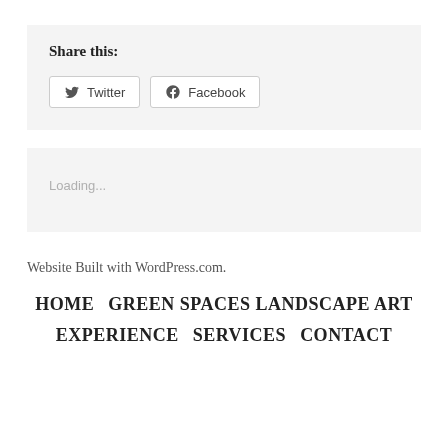Share this:
[Figure (screenshot): Share buttons for Twitter and Facebook]
Loading...
Website Built with WordPress.com.
HOME   GREEN SPACES LANDSCAPE ART   EXPERIENCE   SERVICES   CONTACT